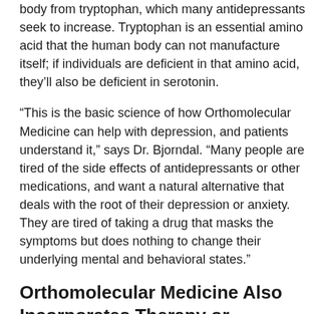body from tryptophan, which many antidepressants seek to increase. Tryptophan is an essential amino acid that the human body can not manufacture itself; if individuals are deficient in that amino acid, they'll also be deficient in serotonin.
“This is the basic science of how Orthomolecular Medicine can help with depression, and patients understand it,” says Dr. Bjorndal. “Many people are tired of the side effects of antidepressants or other medications, and want a natural alternative that deals with the root of their depression or anxiety. They are tired of taking a drug that masks the symptoms but does nothing to change their underlying mental and behavioral states.”
Orthomolecular Medicine Also Incorporates Therapy or Counselling